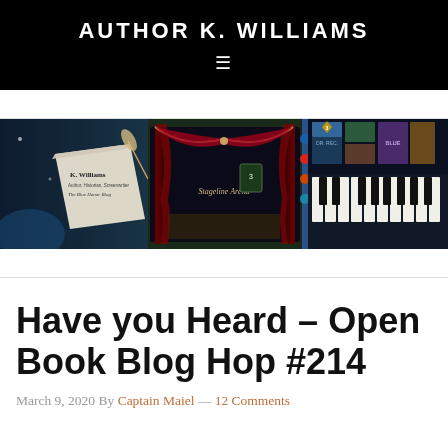AUTHOR K. WILLIAMS
[Figure (illustration): Website banner image for Author K. Williams blog, showing two panels: left panel with theatre stage curtains and K. Williams / The Blue Honor Blog branding, right panel with piano keys and book covers]
Have you Heard – Open Book Blog Hop #214
March 9, 2020 By Captain Maiel — 12 Comments